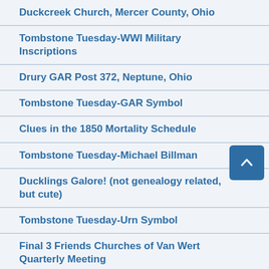Duckcreek Church, Mercer County, Ohio
Tombstone Tuesday-WWI Military Inscriptions
Drury GAR Post 372, Neptune, Ohio
Tombstone Tuesday-GAR Symbol
Clues in the 1850 Mortality Schedule
Tombstone Tuesday-Michael Billman
Ducklings Galore! (not genealogy related, but cute)
Tombstone Tuesday-Urn Symbol
Final 3 Friends Churches of Van Wert Quarterly Meeting
Tombstone Tuesday-Susannah (King) Hartzog